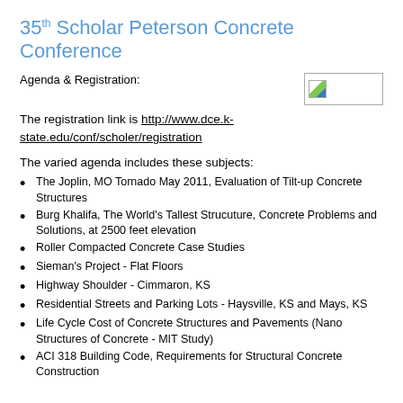35th Scholar Peterson Concrete Conference
Agenda & Registration:
[Figure (illustration): Small image placeholder box with a broken image icon]
The registration link is http://www.dce.k-state.edu/conf/scholer/registration
The varied agenda includes these subjects:
The Joplin, MO Tornado May 2011, Evaluation of Tilt-up Concrete Structures
Burg Khalifa, The World's Tallest Strucuture, Concrete Problems and Solutions, at 2500 feet elevation
Roller Compacted Concrete Case Studies
Sieman's Project - Flat Floors
Highway Shoulder - Cimmaron, KS
Residential Streets and Parking Lots - Haysville, KS and Mays, KS
Life Cycle Cost of Concrete Structures and Pavements (Nano Structures of Concrete - MIT Study)
ACI 318 Building Code, Requirements for Structural Concrete Construction